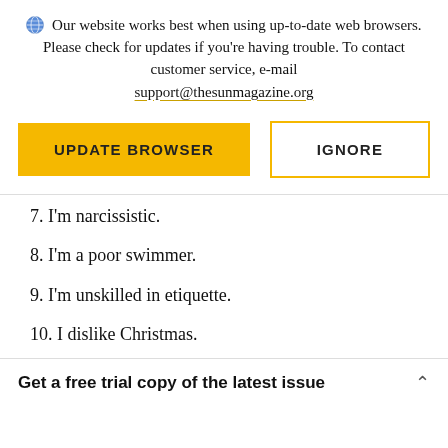Our website works best when using up-to-date web browsers. Please check for updates if you're having trouble. To contact customer service, e-mail support@thesunmagazine.org
[Figure (other): Two buttons: 'UPDATE BROWSER' (yellow filled) and 'IGNORE' (yellow outline)]
7. I'm narcissistic.
8. I'm a poor swimmer.
9. I'm unskilled in etiquette.
10. I dislike Christmas.
Get a free trial copy of the latest issue